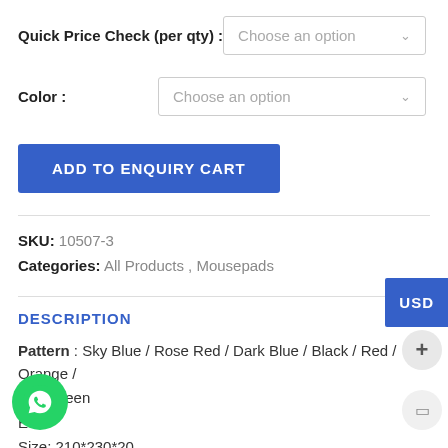Quick Price Check (per qty): Choose an option
Color: Choose an option
ADD TO ENQUIRY CART
SKU: 10507-3
Categories: All Products, Mousepads
DESCRIPTION
Pattern : Sky Blue / Rose Red / Dark Blue / Black / Red / Orange / P... Green
EVA
Size: 210*230*20